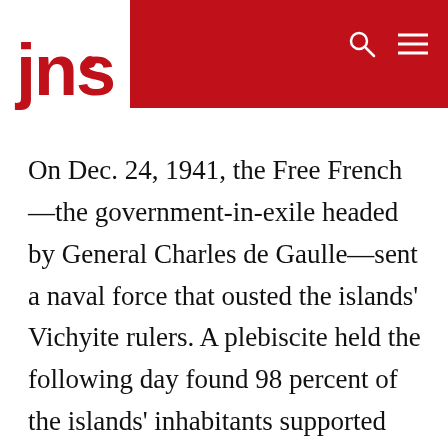jns
On Dec. 24, 1941, the Free French—the government-in-exile headed by General Charles de Gaulle—sent a naval force that ousted the islands' Vichyite rulers. A plebiscite held the following day found 98 percent of the islands' inhabitants supported their overthrow. Rather than celebrate this small but symbolic victory over Axis occupiers in the Western hemisphere, the Roosevelt administration denounced De Gaulle's “arbitrary” action and tried to convince the Canadian government to restore St. Pierre and Miquelon to Vichy control.